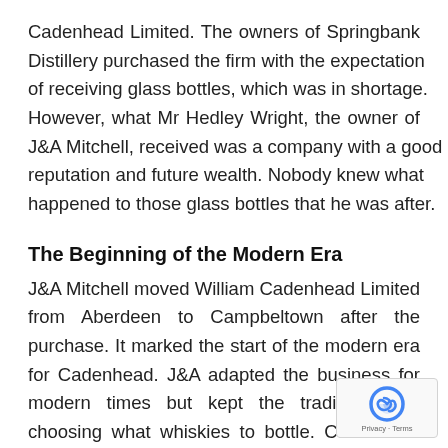Cadenhead Limited. The owners of Springbank Distillery purchased the firm with the expectation of receiving glass bottles, which was in shortage. However, what Mr Hedley Wright, the owner of J&A Mitchell, received was a company with a good reputation and future wealth. Nobody knew what happened to those glass bottles that he was after.
The Beginning of the Modern Era
J&A Mitchell moved William Cadenhead Limited from Aberdeen to Campbeltown after the purchase. It marked the start of the modern era for Cadenhead. J&A adapted the business for modern times but kept the traditional wa choosing what whiskies to bottle. Cadenhead a new motto: “We bottle when our spirits are